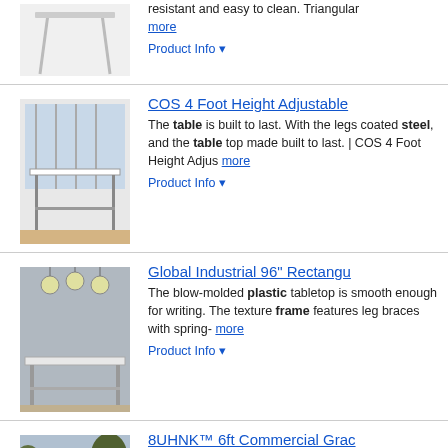[Figure (photo): Partial product image of a table (cut off at top)]
resistant and easy to clean. Triangular more
Product Info ▼
COS 4 Foot Height Adjustable
[Figure (photo): Photo of a COS height adjustable table with metal frame legs on wood floor]
The table is built to last. With the legs coated steel, and the table top made built to last. | COS 4 Foot Height Adjus more
Product Info ▼
Global Industrial 96" Rectangu
[Figure (photo): Photo of a Global Industrial rectangular table in a room with hanging lights]
The blow-molded plastic tabletop is smooth enough for writing. The texture frame features leg braces with spring- more
Product Info ▼
8UHNK™ 6ft Commercial Grac
[Figure (photo): Photo of an 8UHNK commercial grade folding table outdoors]
Overall Dimensions: 72.00" x 29" x 29" Folding Table Weight: 32 lbs / 14.5KG Material: HDPE Table Top Thickness: Material: ... more
Product Info ▼
Midwest Folding Products 630
[Figure (photo): Photo of a Midwest Folding Products rectangular table]
The Folding Tables by Midwest Foldin rectangular top, 30 x 72 x 30H, banqu